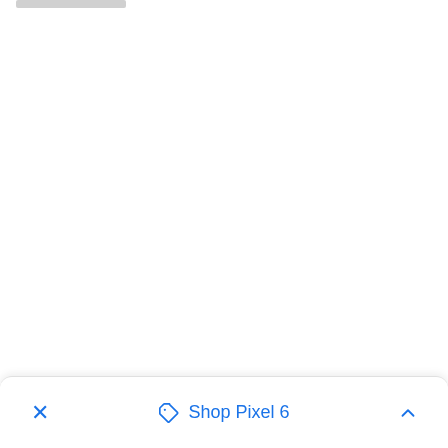[Figure (screenshot): A gray placeholder/loading bar at the top left of a mostly white page, resembling a web browser or app screenshot partial view]
[Figure (screenshot): Bottom floating action bar with a close (X) button on the left, a tag icon and 'Shop Pixel 6' text in blue in the center, and an upward chevron button on the right]